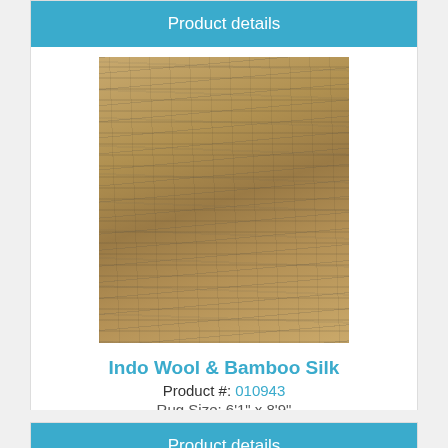Product details
[Figure (photo): Photo of an Indo Wool & Bamboo Silk rug with a tan/beige and grey distressed texture pattern]
Indo Wool & Bamboo Silk
Product #: 010943
Rug Size: 6'1" x 8'9"
$2,400.00
Product details
[Figure (photo): Partial photo of a second rug product, cropped at bottom of page]